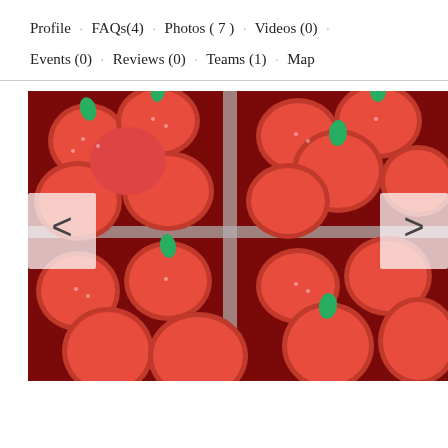Profile · FAQs(4) · Photos ( 7 ) · Videos (0) · Events (0) · Reviews (0) · Teams (1) · Map
[Figure (photo): Photograph of multiple punnets/trays of fresh red strawberries viewed from above, with navigation arrows on left and right sides]